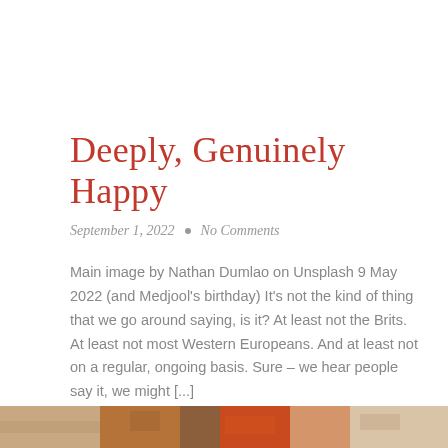Deeply, Genuinely Happy
September 1, 2022  •  No Comments
Main image by Nathan Dumlao on Unsplash 9 May 2022 (and Medjool's birthday) It's not the kind of thing that we go around saying, is it? At least not the Brits. At least not most Western Europeans. And at least not on a regular, ongoing basis. Sure – we hear people say it, we might [...]
Read More
[Figure (photo): Partial bottom image strip showing colorful natural/floral scene]